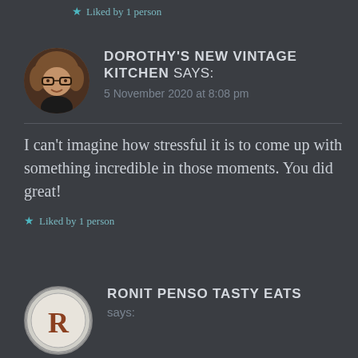Liked by 1 person
[Figure (photo): Circular avatar photo of Dorothy, a woman with curly hair and glasses]
DOROTHY'S NEW VINTAGE KITCHEN says:
5 November 2020 at 8:08 pm
I can't imagine how stressful it is to come up with something incredible in those moments. You did great!
Liked by 1 person
[Figure (logo): Circular logo/avatar with letter R for Ronit Penso Tasty Eats]
RONIT PENSO TASTY EATS says: